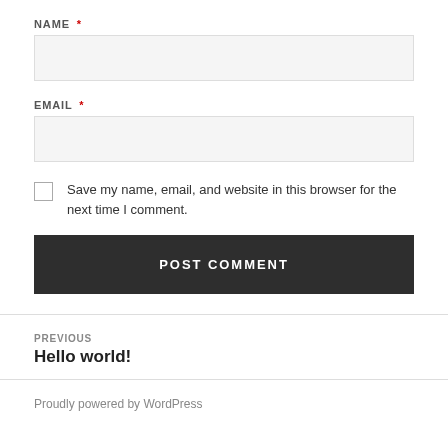NAME *
EMAIL *
Save my name, email, and website in this browser for the next time I comment.
POST COMMENT
PREVIOUS
Hello world!
Proudly powered by WordPress